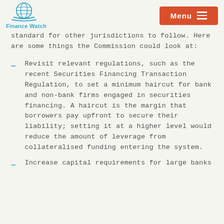Finance Watch | Menu
standard for other jurisdictions to follow. Here are some things the Commission could look at:
Revisit relevant regulations, such as the recent Securities Financing Transaction Regulation, to set a minimum haircut for bank and non-bank firms engaged in securities financing. A haircut is the margin that borrowers pay upfront to secure their liability; setting it at a higher level would reduce the amount of leverage from collateralised funding entering the system.
Increase capital requirements for large banks